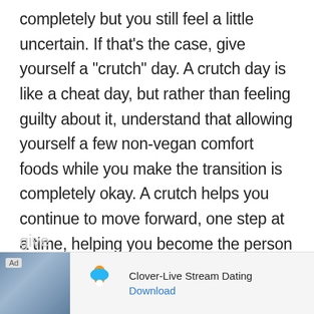completely but you still feel a little uncertain. If that's the case, give yourself a "crutch" day. A crutch day is like a cheat day, but rather than feeling guilty about it, understand that allowing yourself a few non-vegan comfort foods while you make the transition is completely okay. A crutch helps you continue to move forward, one step at a time, helping you become the person you want to be as you transition into this new and wholely compassionate lifestyle. (psst...that means,
give
[Figure (infographic): Ad banner for Clover-Live Stream Dating app. Contains Ad label, a photo of a woman, the Clover app logo (four-leaf clover with colored petals), app name 'Clover-Live Stream Dating', and a 'Download' link.]